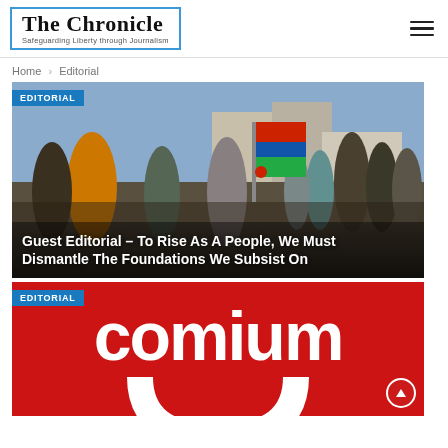The Chronicle — Safeguarding Liberty through Journalism
Home > Editorial
[Figure (photo): Crowd of people celebrating outdoors, one person prominently holding a national flag (The Gambia flag - red, blue, green stripes) while cheering. Urban street scene in background.]
Guest Editorial – To Rise As A People, We Must Dismantle The Foundations We Subsist On
[Figure (photo): Red background with white bold text reading 'comium' and a white curved arc/U shape below the text, resembling the Comium logo.]